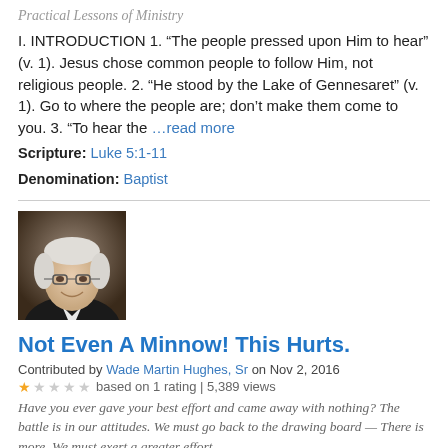Practical Lessons of Ministry
I. INTRODUCTION 1. “The people pressed upon Him to hear” (v. 1). Jesus chose common people to follow Him, not religious people. 2. “He stood by the Lake of Gennesaret” (v. 1). Go to where the people are; don’t make them come to you. 3. “To hear the …read more
Scripture: Luke 5:1-11
Denomination: Baptist
[Figure (photo): Portrait photo of an older man with white hair and glasses, smiling, wearing a dark jacket]
Not Even A Minnow! This Hurts.
Contributed by Wade Martin Hughes, Sr on Nov 2, 2016
based on 1 rating | 5,389 views
Have you ever gave your best effort and came away with nothing? The battle is in our attitudes. We must go back to the drawing board — There is more. We must exert a greater effort.